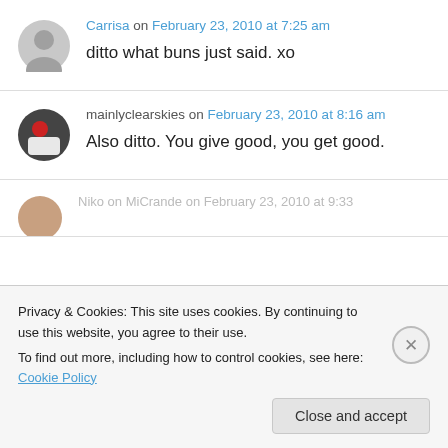Carrisa on February 23, 2010 at 7:25 am
ditto what buns just said. xo
mainlyclearskies on February 23, 2010 at 8:16 am
Also ditto. You give good, you get good.
Privacy & Cookies: This site uses cookies. By continuing to use this website, you agree to their use. To find out more, including how to control cookies, see here: Cookie Policy
Close and accept